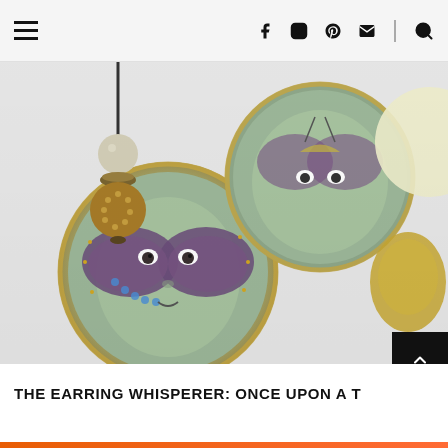Navigation bar with hamburger menu, social icons (Facebook, Instagram, Pinterest, Email), divider, and search icon
[Figure (photo): Close-up photo of two circular enamel earrings with surrealist face-and-butterfly artwork on a white background. A beaded necklace strand with gold and pearl beads is visible on the left. A golden metallic spoon and partial circle shape are visible on the right. The earrings feature illustrated faces with butterfly wings overlaid, in muted green, purple, and gold tones with glitter borders.]
THE EARRING WHISPERER: ONCE UPON A T